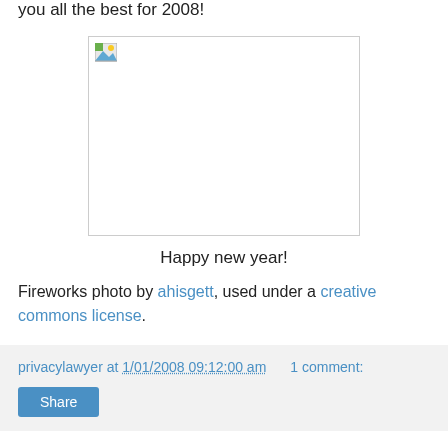you all the best for 2008!
[Figure (photo): Broken/missing image placeholder (fireworks photo not loaded)]
Happy new year!
Fireworks photo by ahisgett, used under a creative commons license.
privacylawyer at 1/01/2008 09:12:00 am   1 comment:
Share